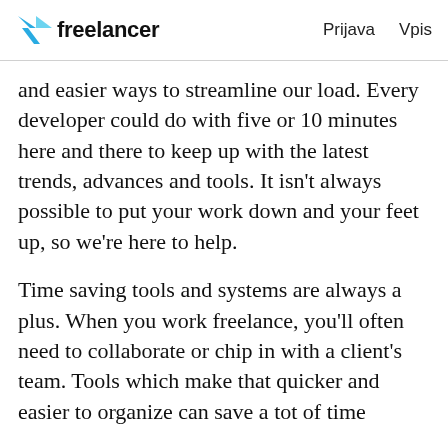freelancer   Prijava   Vpis
and easier ways to streamline our load. Every developer could do with five or 10 minutes here and there to keep up with the latest trends, advances and tools. It isn’t always possible to put your work down and your feet up, so we’re here to help.
Time saving tools and systems are always a plus. When you work freelance, you’ll often need to collaborate or chip in with a client’s team. Tools which make that quicker and easier to organize can save a tot of time